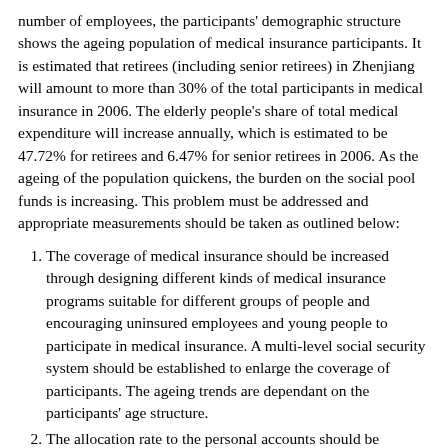number of employees, the participants' demographic structure shows the ageing population of medical insurance participants. It is estimated that retirees (including senior retirees) in Zhenjiang will amount to more than 30% of the total participants in medical insurance in 2006. The elderly people's share of total medical expenditure will increase annually, which is estimated to be 47.72% for retirees and 6.47% for senior retirees in 2006. As the ageing of the population quickens, the burden on the social pool funds is increasing. This problem must be addressed and appropriate measurements should be taken as outlined below:
The coverage of medical insurance should be increased through designing different kinds of medical insurance programs suitable for different groups of people and encouraging uninsured employees and young people to participate in medical insurance. A multi-level social security system should be established to enlarge the coverage of participants. The ageing trends are dependant on the participants' age structure.
The allocation rate to the personal accounts should be adjusted at an appropriate time. The simulation result for the current medical insurance policy predicts that the personal accounts in Zhenjiang will contain 161.42